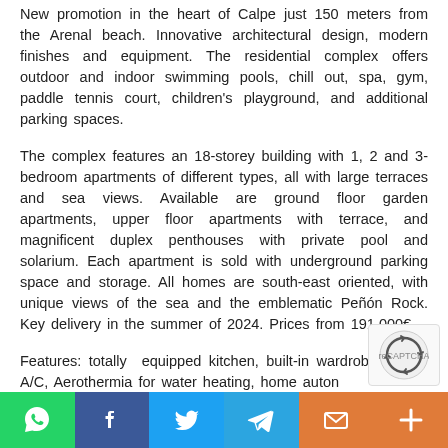New promotion in the heart of Calpe just 150 meters from the Arenal beach. Innovative architectural design, modern finishes and equipment. The residential complex offers outdoor and indoor swimming pools, chill out, spa, gym, paddle tennis court, children's playground, and additional parking spaces.
The complex features an 18-storey building with 1, 2 and 3-bedroom apartments of different types, all with large terraces and sea views. Available are ground floor garden apartments, upper floor apartments with terrace, and magnificent duplex penthouses with private pool and solarium. Each apartment is sold with underground parking space and storage. All homes are south-east oriented, with unique views of the sea and the emblematic Peñón Rock. Key delivery in the summer of 2024. Prices from 191.000€.
Features: totally equipped kitchen, built-in wardrobe, mode A/C, Aerothermia for water heating, home autom...
[Figure (logo): reCAPTCHA badge with spinning arrows icon]
[Figure (other): Social sharing bar with WhatsApp, Facebook, Twitter, Telegram, Email, and Plus buttons]